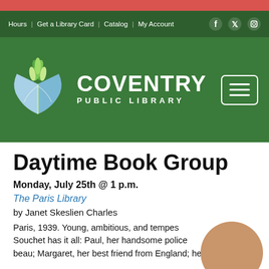Hours | Get a Library Card | Catalog | My Account
[Figure (logo): Coventry Public Library logo with open book and leaf graphic on green background]
Daytime Book Group
Monday, July 25th @ 1 p.m.
The Paris Library
by Janet Skeslien Charles
Paris, 1939. Young, ambitious, and tempes... Souchet has it all: Paul, her handsome police ... beau; Margaret, her best friend from England; her